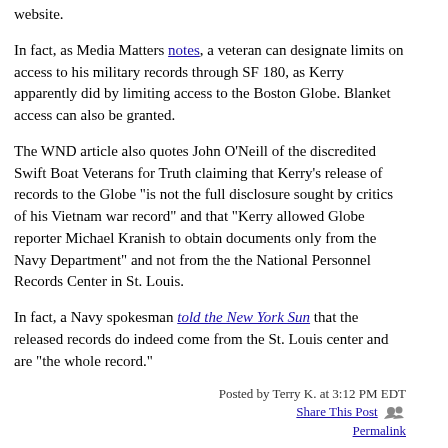website.
In fact, as Media Matters notes, a veteran can designate limits on access to his military records through SF 180, as Kerry apparently did by limiting access to the Boston Globe. Blanket access can also be granted.
The WND article also quotes John O'Neill of the discredited Swift Boat Veterans for Truth claiming that Kerry's release of records to the Globe "is not the full disclosure sought by critics of his Vietnam war record" and that "Kerry allowed Globe reporter Michael Kranish to obtain documents only from the Navy Department" and not from the the National Personnel Records Center in St. Louis.
In fact, a Navy spokesman told the New York Sun that the released records do indeed come from the St. Louis center and are "the whole record."
Posted by Terry K. at 3:12 PM EDT
Share This Post
Permalink
Thursday, June 9, 2005
Getting It Wrong: Clinton's 'Values'
Topic: CNSNews.com